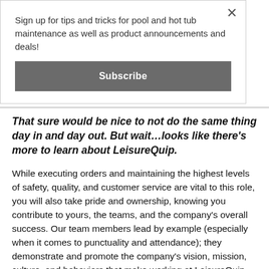Sign up for tips and tricks for pool and hot tub maintenance as well as product announcements and deals!
Subscribe
That sure would be nice to not do the same thing day in and day out. But wait…looks like there's more to learn about LeisureQuip.
While executing orders and maintaining the highest levels of safety, quality, and customer service are vital to this role, you will also take pride and ownership, knowing you contribute to yours, the teams, and the company's overall success. Our team members lead by example (especially when it comes to punctuality and attendance); they demonstrate and promote the company's vision, mission, culture, and behaviors that make working at LeisureQuip more than just another job and a paycheck. As